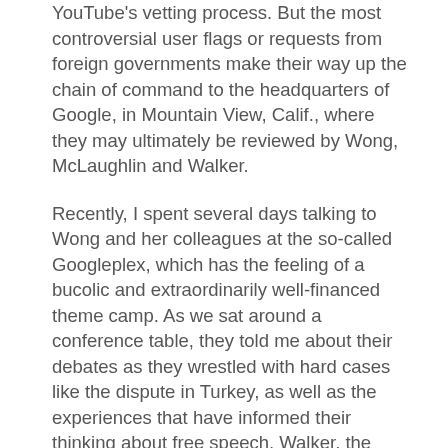YouTube's vetting process. But the most controversial user flags or requests from foreign governments make their way up the chain of command to the headquarters of Google, in Mountain View, Calif., where they may ultimately be reviewed by Wong, McLaughlin and Walker.

Recently, I spent several days talking to Wong and her colleagues at the so-called Googleplex, which has the feeling of a bucolic and extraordinarily well-financed theme camp. As we sat around a conference table, they told me about their debates as they wrestled with hard cases like the dispute in Turkey, as well as the experiences that have informed their thinking about free speech. Walker, the general counsel, wrote for The Harvard Crimson as an undergraduate and considered becoming a journalist before going into law; McLaughlin, the head of global public policy, became a fellow at Harvard's Berkman Center for Internet and Society after working on the successful Supreme